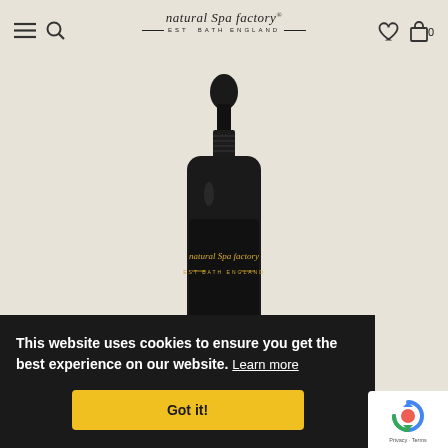natural Spa factory® EST BATH ENGLAND
[Figure (photo): Dark glass dropper bottle with Natural Spa Factory label on a beige/cream background. The bottle has a black dropper cap and a dark label with gold script text reading 'natural Spa factory EST BATH ENGLAND'.]
This website uses cookies to ensure you get the best experience on our website. Learn more
Got it!
[Figure (logo): Google reCAPTCHA badge with circular arrow logo and text 'Privacy - Terms']